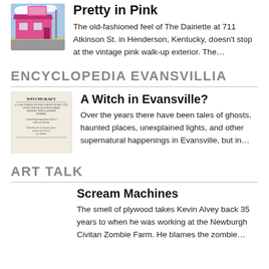[Figure (photo): Pink building exterior of The Dairiette restaurant]
Pretty in Pink
The old-fashioned feel of The Dairiette at 711 Atkinson St. in Henderson, Kentucky, doesn't stop at the vintage pink walk-up exterior. The…
ENCYCLOPEDIA EVANSVILLIA
[Figure (photo): Old newspaper clipping about witchcraft]
A Witch in Evansville?
Over the years there have been tales of ghosts, haunted places, unexplained lights, and other supernatural happenings in Evansville, but in…
ART TALK
Scream Machines
The smell of plywood takes Kevin Alvey back 35 years to when he was working at the Newburgh Civitan Zombie Farm. He blames the zombie…